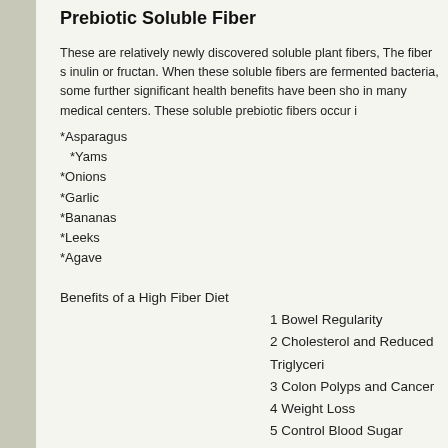Prebiotic Soluble Fiber
These are relatively newly discovered soluble plant fibers, The fiber s inulin or fructan. When these soluble fibers are fermented bacteria, some further significant health benefits have been shown in many medical centers. These soluble prebiotic fibers occur in
*Asparagus
*Yams
*Onions
*Garlic
*Bananas
*Leeks
*Agave
Benefits of a High Fiber Diet
1 Bowel Regularity
2 Cholesterol and Reduced Triglycerides
3 Colon Polyps and Cancer
4 Weight Loss
5 Control Blood Sugar